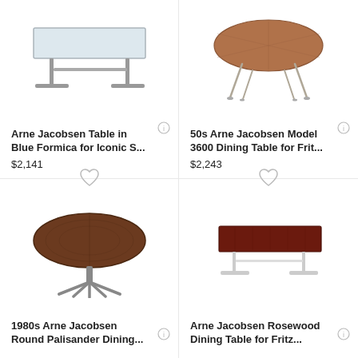[Figure (photo): Arne Jacobsen rectangular table with light blue/white Formica top and grey metal T-base legs]
Arne Jacobsen Table in Blue Formica for Iconic S...
$2,141
[Figure (photo): 50s Arne Jacobsen Model 3600 round dining table with wooden top and thin metal legs]
50s Arne Jacobsen Model 3600 Dining Table for Frit...
$2,243
[Figure (photo): 1980s Arne Jacobsen round Palisander dining table with dark walnut top and star-base pedestal]
1980s Arne Jacobsen Round Palisander Dining...
[Figure (photo): Arne Jacobsen Rosewood rectangular dining table with dark rosewood top and white metal T-base legs]
Arne Jacobsen Rosewood Dining Table for Fritz...